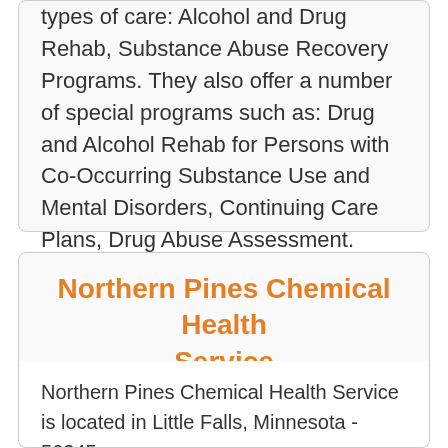types of care: Alcohol and Drug Rehab, Substance Abuse Recovery Programs. They also offer a number of special programs such as: Drug and Alcohol Rehab for Persons with Co-Occurring Substance Use and Mental Disorders, Continuing Care Plans, Drug Abuse Assessment.
Northern Pines Chemical Health Service
Northern Pines Chemical Health Service is located in Little Falls, Minnesota - 56345.
Northern Pines Chemical Health Service